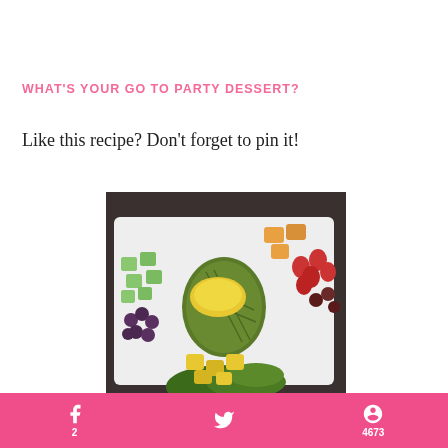WHAT'S YOUR GO TO PARTY DESSERT?
Like this recipe? Don't forget to pin it!
[Figure (photo): A fruit platter with a hollowed-out pineapple filled with yellow dip/sauce, surrounded by green melon cubes, dark grapes, strawberries, and pineapple chunks on a white rectangular tray.]
f 2   Twitter icon   P 4673